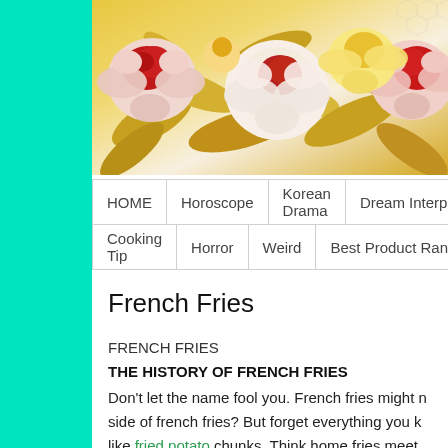[Figure (illustration): Decorative floral image with colorful painted flowers including red, pink, white, and yellow blooms with golden-yellow leaves on a light background. Appears to be a website banner header image.]
HOME | Horoscope | Korean Drama | Dream Interpre... | Cooking Tip | Horror | Weird | Best Product Rank
French Fries
FRENCH FRIES
THE HISTORY OF FRENCH FRIES
Don't let the name fool you. French fries might n... side of french fries? But forget everything you k... like fried potato chunks. Think home fries meet... contested. There's still serious drama between